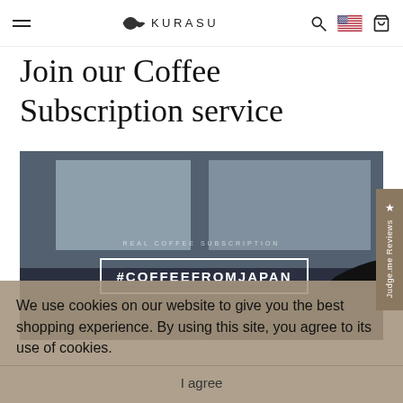KURASU — navigation bar with hamburger menu, logo, search, US flag, cart
Join our Coffee Subscription service
[Figure (photo): Dark silhouette of a person wearing a cap sitting near a window in a cafe, with the text '#COFFEEFROMJAPAN' in a white bordered box and 'REAL COFFEE SUBSCRIPTION' above it in small caps overlay]
We use cookies on our website to give you the best shopping experience. By using this site, you agree to its use of cookies.
I agree